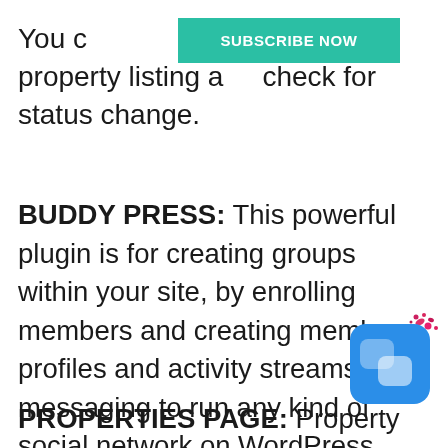You can visit each property listing and check for status change.
[Figure (other): Green 'SUBSCRIBE NOW' banner overlaid on top of page text]
BUDDY PRESS: This powerful plugin is for creating groups within your site, by enrolling members and creating member profiles and activity streams and messaging to run any kind of social network on WordPress. This provides features letting your members socially interact with each other.
[Figure (logo): Blue rounded square app icon with chat bubble icon and pink/magenta splash decoration in top right corner]
PROPERTIES PAGE: Property